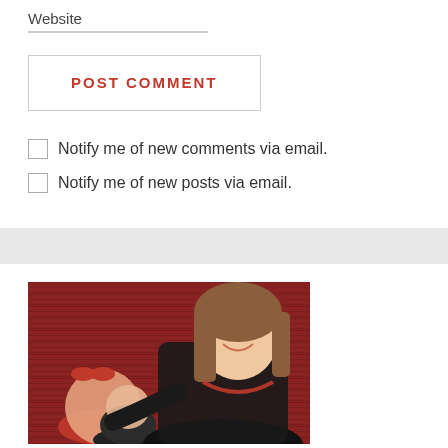Website
POST COMMENT
Notify me of new comments via email.
Notify me of new posts via email.
[Figure (photo): A smiling young woman with long brown hair wearing a black top and red necklace, holding two babies — one in a red outfit with a red bow headband and one in a dark outfit — in front of a red wooden wall background.]